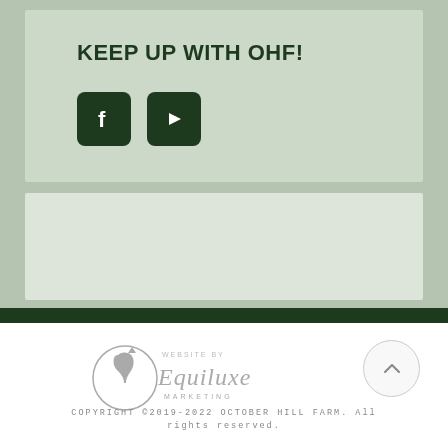KEEP UP WITH OHF!
[Figure (illustration): Facebook icon button (dark green rounded square with white 'f' logo) and YouTube icon button (dark green rounded square with white play button logo)]
[Figure (logo): Equiluxe Marketing logo with stylized horse head in circle and cursive text reading 'Equiluxe Marketing', with small text 'WEBSITE BY' above]
COPYRIGHT ©2019-2022 OCTOBER HILL FARM. All rights reserved.